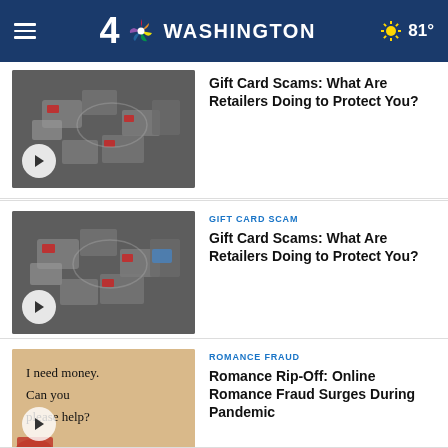NBC4 Washington — 81°
[Figure (screenshot): Thumbnail image of gift card scam story (partially visible, top of page)]
Gift Card Scams: What Are Retailers Doing to Protect You?
[Figure (screenshot): Thumbnail image showing gift cards and packaging scattered on ground]
GIFT CARD SCAM
Gift Card Scams: What Are Retailers Doing to Protect You?
[Figure (photo): Image showing a note that reads 'I need money. Can you please help?']
ROMANCE FRAUD
Romance Rip-Off: Online Romance Fraud Surges During Pandemic